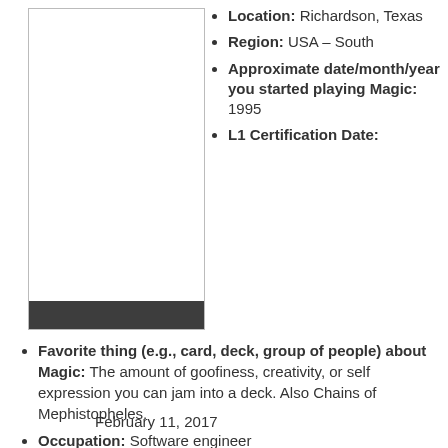[Figure (photo): Profile photo placeholder with dark bar at bottom]
Location: Richardson, Texas
Region: USA – South
Approximate date/month/year you started playing Magic: 1995
L1 Certification Date: February 11, 2017
Favorite thing (e.g., card, deck, group of people) about Magic: The amount of goofiness, creativity, or self expression you can jam into a deck. Also Chains of Mephistopheles.
Occupation: Software engineer
Random fact about yourself: I used to own a bar.
Why did you become a judge?: I got overly invested in EDH, which made me consider weird rules things. Turns out I really, really like weird rules things.